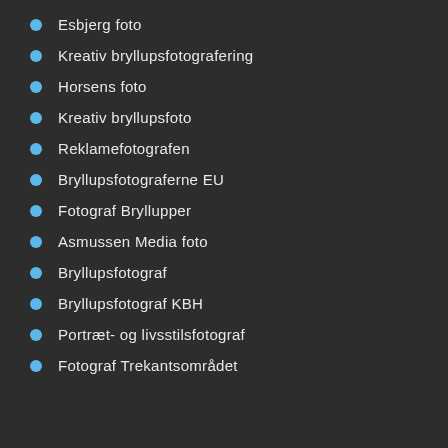Esbjerg foto
Kreativ bryllupsfotografering
Horsens foto
Kreativ bryllupsfoto
Reklamefotografen
Bryllupsfotograferne EU
Fotograf Bryllupper
Asmussen Media foto
Bryllupsfotograf
Bryllupsfotograf KBH
Portræt- og livsstilsfotograf
Fotograf Trekantsområdet